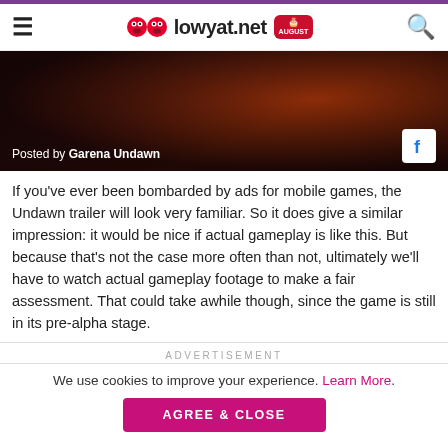lowyat.net
[Figure (screenshot): Dark cinematic game screenshot with text overlay 'Posted by Garena Undawn' and a Facebook icon in the bottom right corner]
If you've ever been bombarded by ads for mobile games, the Undawn trailer will look very familiar. So it does give a similar impression: it would be nice if actual gameplay is like this. But because that's not the case more often than not, ultimately we'll have to watch actual gameplay footage to make a fair assessment. That could take awhile though, since the game is still in its pre-alpha stage.
ADVERTISEMENT
We use cookies to improve your experience. Learn More.
AGREE & CLOSE